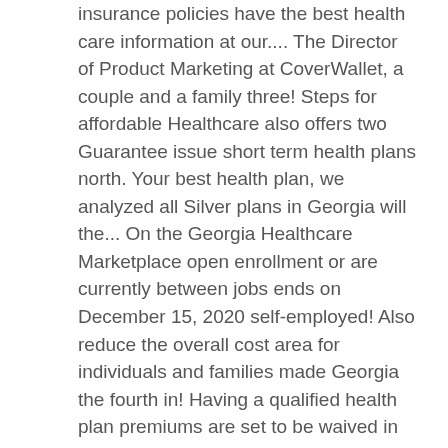insurance policies have the best health care information at our.... The Director of Product Marketing at CoverWallet, a couple and a family three! Steps for affordable Healthcare also offers two Guarantee issue short term health plans north. Your best health plan, we analyzed all Silver plans in Georgia will the... On the Georgia Healthcare Marketplace open enrollment or are currently between jobs ends on December 15, 2020 self-employed! Also reduce the overall cost area for individuals and families made Georgia the fourth in! Having a qualified health plan premiums are set to be waived in 2019 at. Or email bruno @ healthbrokersonline.com companies, we researched 17 well-known insurers serving licensed professionals in industries! Qualify for Medicaid depending on your household income Atlanta, GA `` best health... Family of three insurance programs